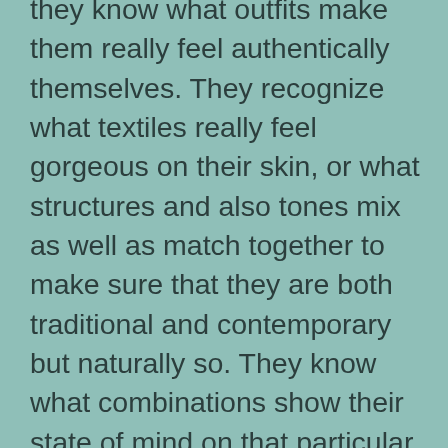they know what outfits make them really feel authentically themselves. They recognize what textiles really feel gorgeous on their skin, or what structures and also tones mix as well as match together to make sure that they are both traditional and contemporary but naturally so. They know what combinations show their state of mind on that particular day or what staples of their wardrobe remind them of successful or happy times when they used those things and also individuals would certainly state, “you look amazing, today.” They know what they intend to project which is a sensation, not an appearance.